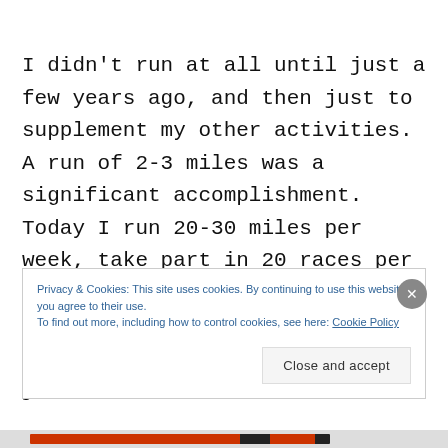I didn't run at all until just a few years ago, and then just to supplement my other activities. A run of 2-3 miles was a significant accomplishment. Today I run 20-30 miles per week, take part in 20 races per year, and am training for my second ultramarathon. I never expected this to happen; running just sort of
Privacy & Cookies: This site uses cookies. By continuing to use this website, you agree to their use.
To find out more, including how to control cookies, see here: Cookie Policy
Close and accept